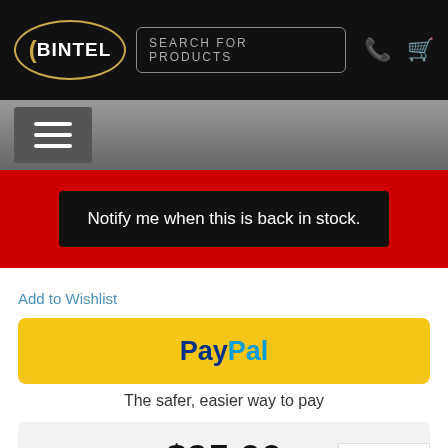[Figure (screenshot): Bintel logo oval with crescent C and BINTEL text in white on black background]
[Figure (screenshot): Search bar with placeholder text SEARCH FOR PRODUCTS, phone icon and cart icon on black nav bar]
[Figure (screenshot): Gray sub-navigation bar with hamburger menu button]
Notify me when this is back in stock.
Add to Wishlist
[Figure (logo): PayPal button in yellow with PayPal branding in blue]
The safer, easier way to pay
$95.00
– Price shown includes GST